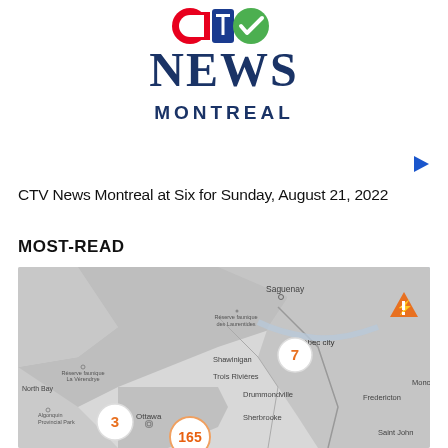[Figure (logo): CTV News Montreal logo with colorful CTV letters above large navy 'News' text and 'MONTREAL' below]
[Figure (other): Blue right-pointing play button triangle icon]
CTV News Montreal at Six for Sunday, August 21, 2022
MOST-READ
[Figure (map): Grayscale map of eastern Canada/Quebec region showing power outage clusters with orange numbered bubbles: 3 near Ottawa area, 7 near Quebec City area, 165 near Montreal area, and an orange warning triangle icon in the upper right. Place names visible include Saguenay, Shawinigan, Trois Rivieres, Drummondville, Sherbrooke, Ottawa, Quebec City, Fredericton, Moncton, North Bay, Saint John.]